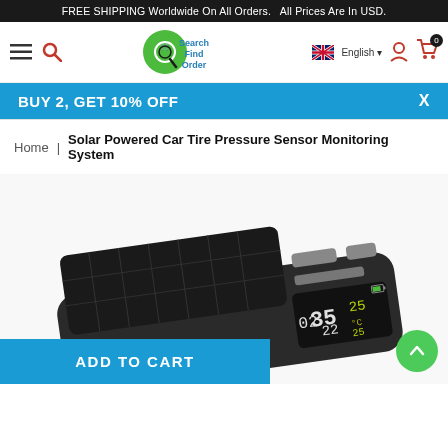FREE SHIPPING Worldwide On All Orders.   All Prices Are In USD.
[Figure (logo): Search Find Order e-commerce website logo with green circular icon containing a shopping cart and magnifying glass]
English
BUY 2, GET 10% OFF   X
Home  |  Solar Powered Car Tire Pressure Sensor Monitoring System
[Figure (photo): Solar powered car tire pressure monitoring system device shown at an angle, dark black color with solar panel on top, digital display showing tire pressure readings 35, 02, 22, 25°C, 25]
ADD TO CART